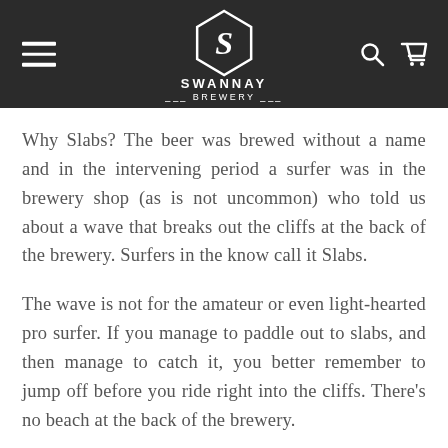Swannay Brewery
Why Slabs? The beer was brewed without a name and in the intervening period a surfer was in the brewery shop (as is not uncommon) who told us about a wave that breaks out the cliffs at the back of the brewery. Surfers in the know call it Slabs.
The wave is not for the amateur or even light-hearted pro surfer. If you manage to paddle out to slabs, and then manage to catch it, you better remember to jump off before you ride right into the cliffs. There's no beach at the back of the brewery.